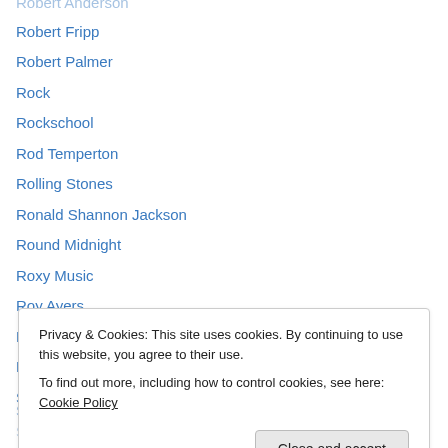Robert Fripp
Robert Palmer
Rock
Rockschool
Rod Temperton
Rolling Stones
Ronald Shannon Jackson
Round Midnight
Roxy Music
Roy Ayers
Run DMC
Ry Cooder
Sadao Watanabe
Privacy & Cookies: This site uses cookies. By continuing to use this website, you agree to their use.
To find out more, including how to control cookies, see here: Cookie Policy
Sharyn Stevens
Sinita T...